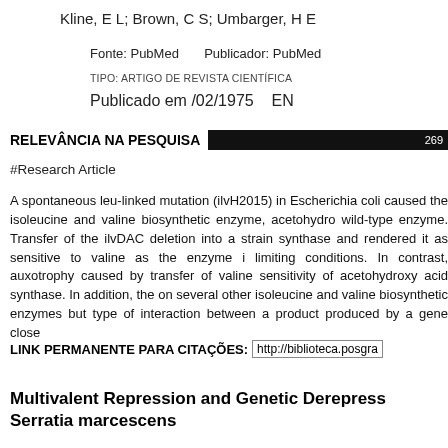Kline, E L; Brown, C S; Umbarger, H E
Fonte: PubMed    Publicador: PubMed
TIPO: ARTIGO DE REVISTA CIENTÍFICA
Publicado em /02/1975    EN
RELEVÂNCIA NA PESQUISA  [bar] 269
#Research Article
A spontaneous leu-linked mutation (ilvH2015) in Escherichia coli caused the isoleucine and valine biosynthetic enzyme, acetohydro wild-type enzyme. Transfer of the ilvDAC deletion into a strain synthase and rendered it as sensitive to valine as the enzyme i limiting conditions. In contrast, auxotrophy caused by transfer of valine sensitivity of acetohydroxy acid synthase. In addition, the on several other isoleucine and valine biosynthetic enzymes but type of interaction between a product produced by a gene close
LINK PERMANENTE PARA CITAÇÕES:  http://biblioteca.posga
Multivalent Repression and Genetic Derepress Serratia marcescens